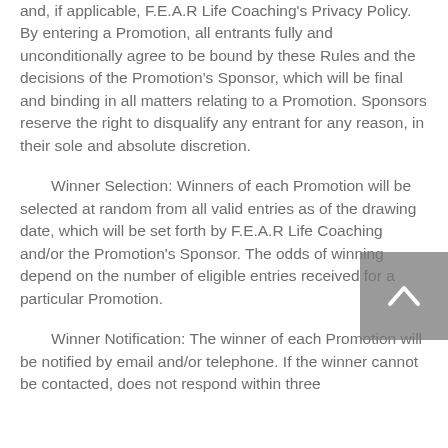and, if applicable, F.E.A.R Life Coaching's Privacy Policy. By entering a Promotion, all entrants fully and unconditionally agree to be bound by these Rules and the decisions of the Promotion's Sponsor, which will be final and binding in all matters relating to a Promotion. Sponsors reserve the right to disqualify any entrant for any reason, in their sole and absolute discretion.
Winner Selection: Winners of each Promotion will be selected at random from all valid entries as of the drawing date, which will be set forth by F.E.A.R Life Coaching and/or the Promotion's Sponsor. The odds of winning depend on the number of eligible entries received for a particular Promotion.
Winner Notification: The winner of each Promotion will be notified by email and/or telephone. If the winner cannot be contacted, does not respond within three